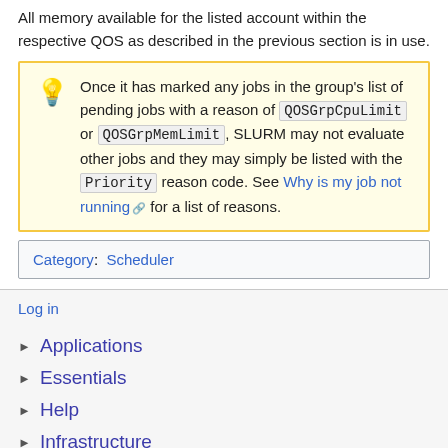All memory available for the listed account within the respective QOS as described in the previous section is in use.
Once it has marked any jobs in the group's list of pending jobs with a reason of QOSGrpCpuLimit or QOSGrpMemLimit, SLURM may not evaluate other jobs and they may simply be listed with the Priority reason code. See Why is my job not running for a list of reasons.
Category:  Scheduler
Log in
Applications
Essentials
Help
Infrastructure